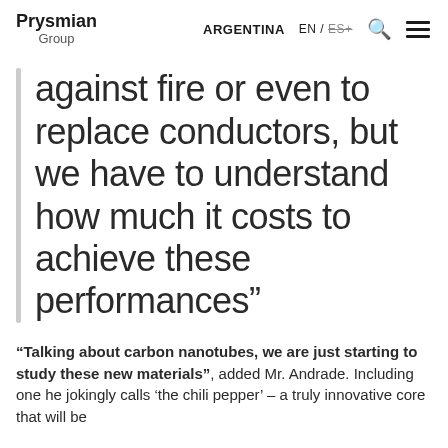Prysmian Group | ARGENTINA | EN / ES+
against fire or even to replace conductors, but we have to understand how much it costs to achieve these performances"
"Talking about carbon nanotubes, we are just starting to study these new materials", added Mr. Andrade. Including one he jokingly calls ‘the chili pepper’ – a truly innovative core that will be